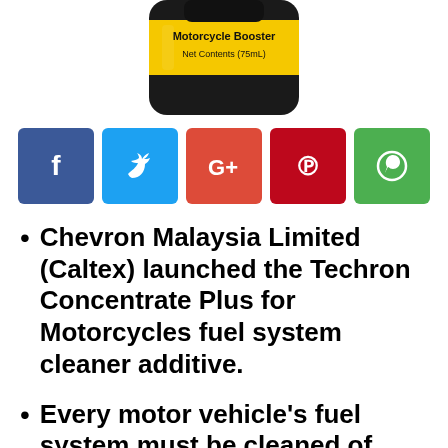[Figure (photo): Partial top view of a dark bottle with a yellow label reading 'Motorcycle Booster Net Contents (75mL)']
[Figure (infographic): Five social media sharing icons in a row: Facebook (blue), Twitter (light blue), Google+ (red-orange), Pinterest (dark red), WhatsApp (green)]
Chevron Malaysia Limited (Caltex) launched the Techron Concentrate Plus for Motorcycles fuel system cleaner additive.
Every motor vehicle’s fuel system must be cleaned of harmful deposits from time to time.